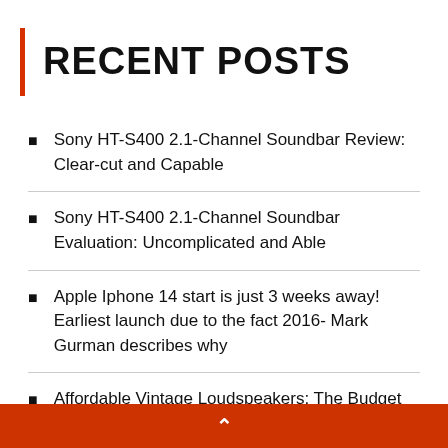RECENT POSTS
Sony HT-S400 2.1-Channel Soundbar Review: Clear-cut and Capable
Sony HT-S400 2.1-Channel Soundbar Evaluation: Uncomplicated and Able
Apple Iphone 14 start is just 3 weeks away! Earliest launch due to the fact 2016- Mark Gurman describes why
Affordable Vintage Loudspeakers: The Budget Audiophiler
^